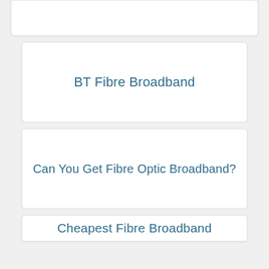BT Fibre Broadband
Can You Get Fibre Optic Broadband?
Cheapest Fibre Broadband
EE Fibre Broadband
Fibre Broadband In My Area